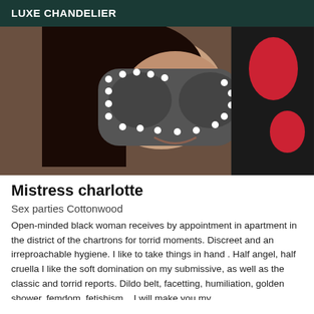LUXE CHANDELIER
[Figure (photo): Woman wearing a studded masquerade mask and black fishnet bodysuit with red detail, taking a selfie]
Mistress charlotte
Sex parties Cottonwood
Open-minded black woman receives by appointment in apartment in the district of the chartrons for torrid moments. Discreet and an irreproachable hygiene. I like to take things in hand . Half angel, half cruella I like the soft domination on my submissive, as well as the classic and torrid reports. Dildo belt, facetting, humiliation, golden shower, femdom, fetishism... I will make you my...